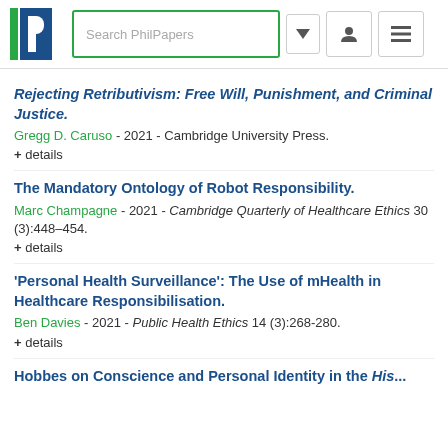Search PhilPapers
Rejecting Retributivism: Free Will, Punishment, and Criminal Justice.
Gregg D. Caruso - 2021 - Cambridge University Press.
+ details
The Mandatory Ontology of Robot Responsibility.
Marc Champagne - 2021 - Cambridge Quarterly of Healthcare Ethics 30 (3):448–454.
+ details
'Personal Health Surveillance': The Use of mHealth in Healthcare Responsibilisation.
Ben Davies - 2021 - Public Health Ethics 14 (3):268-280.
+ details
Hobbes on Conscience and Personal Identity in the His...